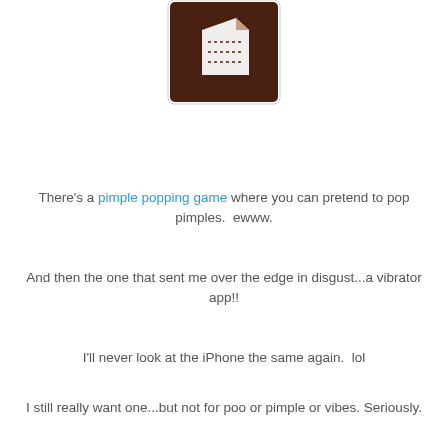[Figure (logo): Brown square icon with a white paper/document silhouette and dotted lines, resembling an app icon or blog logo]
There's a pimple popping game where you can pretend to pop pimples.  ewww.
And then the one that sent me over the edge in disgust...a vibrator app!!
I'll never look at the iPhone the same again.  lol
I still really want one...but not for poo or pimple or vibes.  Seriously.